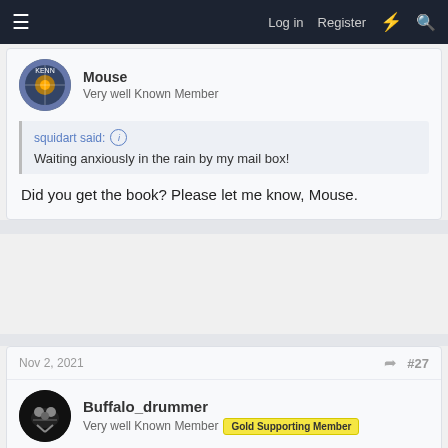Log in  Register
Mouse
Very well Known Member
squidart said: ↑
Waiting anxiously in the rain by my mail box!
Did you get the book? Please let me know, Mouse.
Nov 2, 2021  #27
Buffalo_drummer
Very well Known Member  Gold Supporting Member
Just getting the background hitting a small contribution to the...